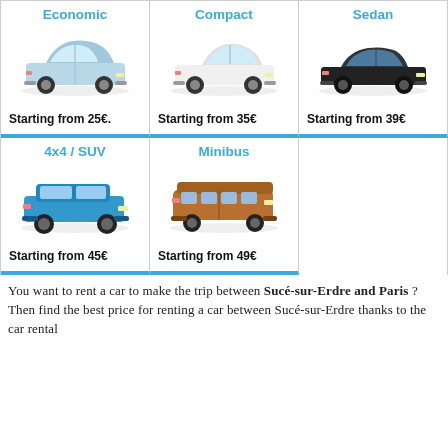[Figure (illustration): Grid of 5 car rental categories: Economic (light blue hatchback, starting from 25€), Compact (white coupe, starting from 35€), Sedan (black sedan, starting from 39€), 4x4/SUV (blue SUV, starting from 45€), Minibus (brown minibus, starting from 49€)]
You want to rent a car to make the trip between Sucé-sur-Erdre and Paris ? Then find the best price for renting a car between Sucé-sur-Erdre thanks to the car rental